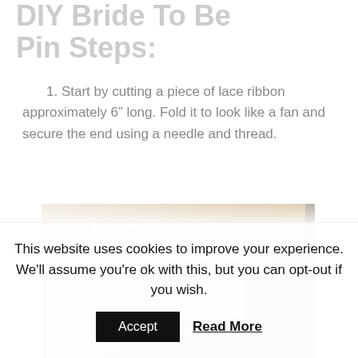DIY Bride To Be Pin Steps:
1. Start by cutting a piece of lace ribbon approximately 6” long. Fold it to look like a fan and secure the end using a needle and thread.
[Figure (photo): A hand holding a small piece of white lace ribbon folded like a fan, with a ring visible on finger. Watermark reads FUIART in pink.]
This website uses cookies to improve your experience. We’ll assume you’re ok with this, but you can opt-out if you wish.
Accept   Read More